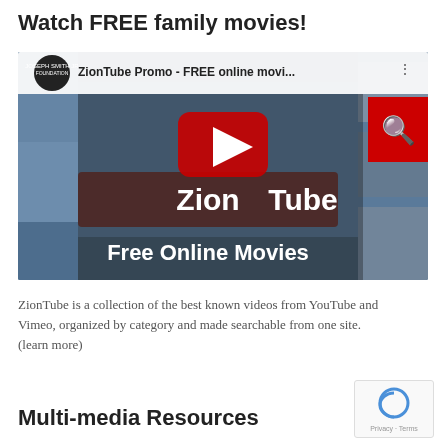Watch FREE family movies!
[Figure (screenshot): YouTube video thumbnail for 'ZionTube Promo - FREE online movi...' showing the ZionTube Free Online Movies branding with a YouTube play button overlay. The thumbnail has a dark bluish background with various movie thumbnails arranged in a 3D collage. A red YouTube search button appears in the top right corner. Text reads 'Zion Tube' and 'Free Online Movies'. A circular logo for Joseph Smith Jr Foundation appears top left.]
ZionTube is a collection of the best known videos from YouTube and Vimeo, organized by category and made searchable from one site. (learn more)
Multi-media Resources